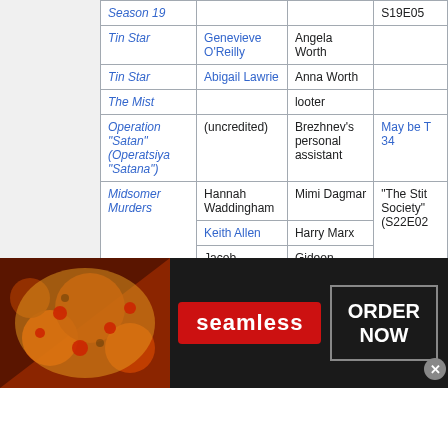| Title | Actor | Role | Notes |
| --- | --- | --- | --- |
| Season 19 |  |  | S19E05 |
| Tin Star | Genevieve O'Reilly | Angela Worth |  |
| Tin Star | Abigail Lawrie | Anna Worth |  |
| The Mist |  | looter |  |
| Operation "Satan" (Operatsiya "Satana") | (uncredited) | Brezhnev's personal assistant | May be T 34 |
| Midsomer Murders | Hannah Waddingham | Mimi Dagmar | "The Stit Society" (S22E02 |
| Midsomer Murders | Keith Allen | Harry Marx | "The Stit Society" (S22E02 |
| Midsomer Murders | Jacob Fortune-Lloyd | Gideon Tooms | "The Stit Society" (S22E02 |
[Figure (infographic): Seamless food delivery advertisement banner with pizza image on left, seamless logo in center, and ORDER NOW button on right with close X button]